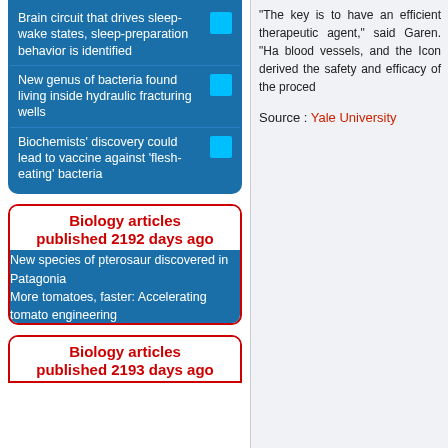Brain circuit that drives sleep-wake states, sleep-preparation behavior is identified
New genus of bacteria found living inside hydraulic fracturing wells
Biochemists' discovery could lead to vaccine against 'flesh-eating' bacteria
Biology articles published 2192 days ago
New species of pterosaur discovered in Patagonia
More tomatoes, faster: Accelerating tomato engineering
Biology articles published 2193 days ago
"The key is to have an efficient therapeutic agent," said Garen. "Ha blood vessels, and the Icon derived the safety and efficacy of the proced
Source : Yale University
Mail to a Friend